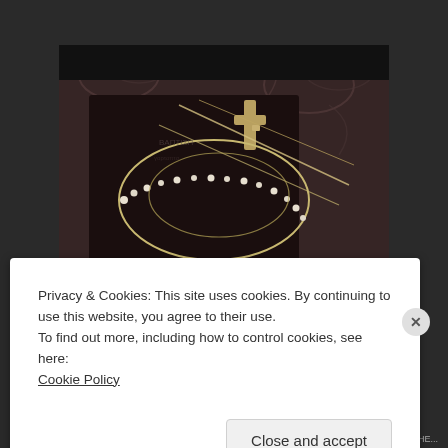[Figure (photo): Sepia-toned photo of jewelry items including a wire/bead crown/tiara and cross pendant arranged on dark fabric with decorative patterned background]
Privacy & Cookies: This site uses cookies. By continuing to use this website, you agree to their use.
To find out more, including how to control cookies, see here:
Cookie Policy
Close and accept